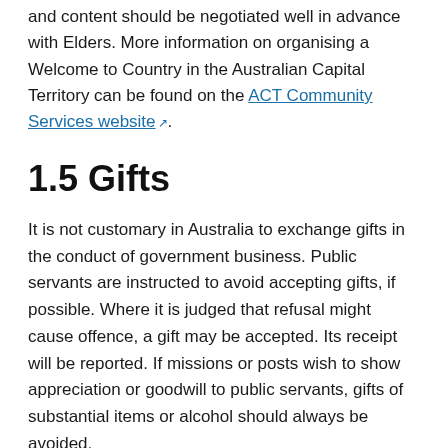and content should be negotiated well in advance with Elders. More information on organising a Welcome to Country in the Australian Capital Territory can be found on the ACT Community Services website.
1.5 Gifts
It is not customary in Australia to exchange gifts in the conduct of government business. Public servants are instructed to avoid accepting gifts, if possible. Where it is judged that refusal might cause offence, a gift may be accepted. Its receipt will be reported. If missions or posts wish to show appreciation or goodwill to public servants, gifts of substantial items or alcohol should always be avoided.
As a general principle, state and territory officials do not present gifts when meeting members of